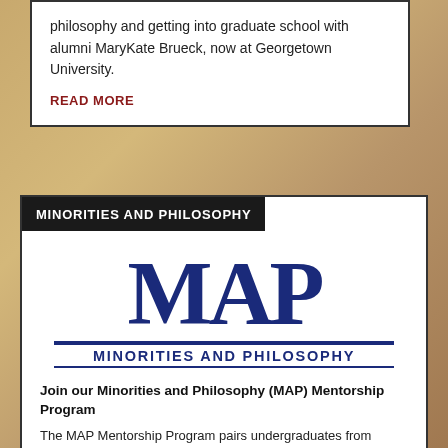philosophy and getting into graduate school with alumni MaryKate Brueck, now at Georgetown University.
READ MORE
MINORITIES AND PHILOSOPHY
[Figure (logo): MAP - Minorities and Philosophy logo with large blue MAP letters and subtitle text MINORITIES AND PHILOSOPHY]
Join our Minorities and Philosophy (MAP) Mentorship Program
The MAP Mentorship Program pairs undergraduates from underrepresented groups with philosophy